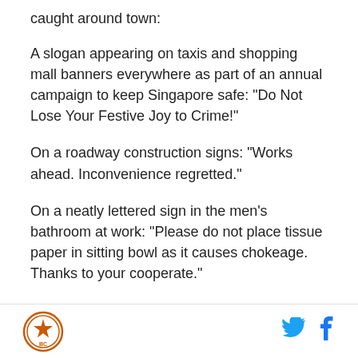caught around town:
A slogan appearing on taxis and shopping mall banners everywhere as part of an annual campaign to keep Singapore safe: "Do Not Lose Your Festive Joy to Crime!"
On a roadway construction signs: "Works ahead. Inconvenience regretted."
On a neatly lettered sign in the men's bathroom at work: "Please do not place tissue paper in sitting bowl as it causes chokeage. Thanks to your cooperate."
On the banner over the door of a local restaurant:
"E...
[Figure (logo): Orange circular logo with star and 'BC' text]